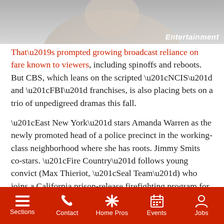[Figure (photo): Partial photo of a person, with Entertainment watermark in bottom-right corner]
That’s prompted growing broadcast reliance on fare known to viewers, including spinoffs and reboots. But CBS, which leans on the scripted “NCIS” and “FBI” franchises, is also placing bets on a trio of unpedigreed dramas this fall.
“East New York” stars Amanda Warren as the newly promoted head of a police precinct in the working-class neighborhood where she has roots. Jimmy Smits co-stars. “Fire Country” follows young convict (Max Thieriot, “Seal Team”) who joins a California prison-release firefighting program for a second chance.
The other scripted addition, “So Help Me Todd,” is described as a “humorous legal drama.” Oscar-winner Marcia Gay Harden (“Pollock”) stars as a successful attorney who hires her less-driven
Sections   Contact   Home Pros   Events   Jobs